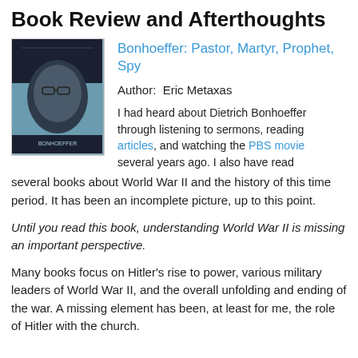Book Review and Afterthoughts
[Figure (photo): Book cover of Bonhoeffer: Pastor, Martyr, Prophet, Spy showing a man's face in black and white with glasses]
Bonhoeffer: Pastor, Martyr, Prophet, Spy
Author:  Eric Metaxas
I had heard about Dietrich Bonhoeffer through listening to sermons, reading articles, and watching the PBS movie several years ago. I also have read several books about World War II and the history of this time period. It has been an incomplete picture, up to this point.
Until you read this book, understanding World War II is missing an important perspective.
Many books focus on Hitler’s rise to power, various military leaders of World War II, and the overall unfolding and ending of the war. A missing element has been, at least for me, the role of Hitler with the church.